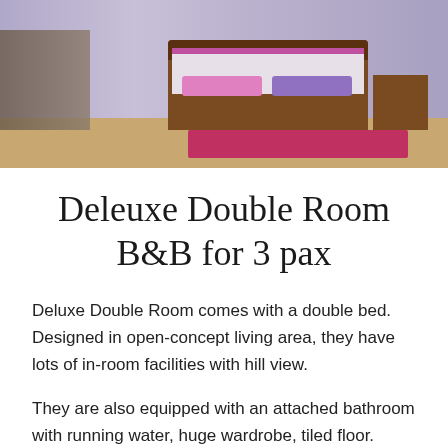[Figure (photo): Interior photo of a deluxe double room showing a wooden bed with purple/pink pillows and teal accent, purple-tinted walls, wooden flooring, a pink rug, and a wooden nightstand. Left side shows baskets and other room items.]
Deleuxe Double Room B&B for 3 pax
Deluxe Double Room comes with a double bed. Designed in open-concept living area, they have lots of in-room facilities with hill view.
They are also equipped with an attached bathroom with running water, huge wardrobe, tiled floor.